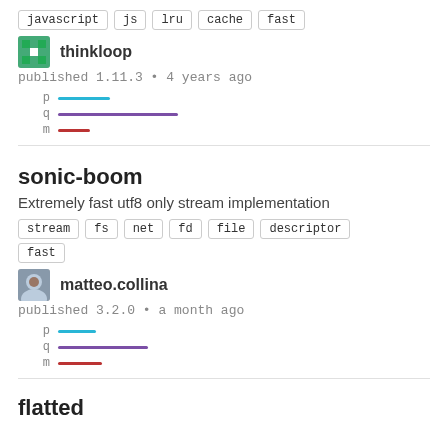javascript  js  lru  cache  fast
thinkloop
published 1.11.3 • 4 years ago
[Figure (other): Dependency metrics bars: p (blue, short), q (purple, longer), m (red, short)]
sonic-boom
Extremely fast utf8 only stream implementation
stream  fs  net  fd  file  descriptor  fast
matteo.collina
published 3.2.0 • a month ago
[Figure (other): Dependency metrics bars: p (blue, short), q (purple, medium), m (red, short)]
flatted